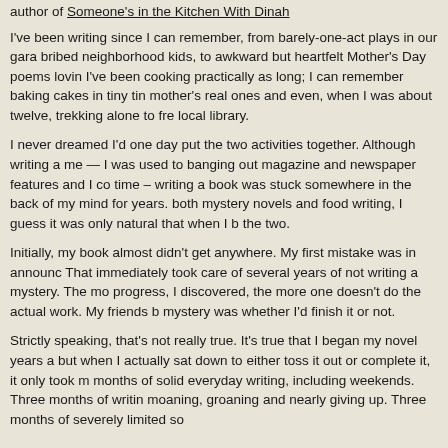author of Someone's in the Kitchen With Dinah
I've been writing since I can remember, from barely-one-act plays in our garage bribed neighborhood kids, to awkward but heartfelt Mother's Day poems lovin I've been cooking practically as long; I can remember baking cakes in tiny tins mother's real ones and even, when I was about twelve, trekking alone to free local library.
I never dreamed I'd one day put the two activities together. Although writing a me — I was used to banging out magazine and newspaper features and I coo time – writing a book was stuck somewhere in the back of my mind for years. both mystery novels and food writing, I guess it was only natural that when I b the two.
Initially, my book almost didn't get anywhere. My first mistake was in announc That immediately took care of several years of not writing a mystery. The mor progress, I discovered, the more one doesn't do the actual work. My friends b mystery was whether I'd finish it or not.
Strictly speaking, that's not really true. It's true that I began my novel years ag but when I actually sat down to either toss it out or complete it, it only took me months of solid everyday writing, including weekends. Three months of writing moaning, groaning and nearly giving up. Three months of severely limited soc